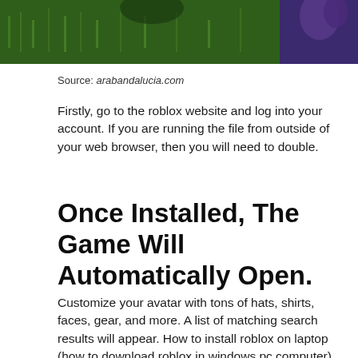[Figure (photo): A cropped photo showing green grass and dark background, partially visible at top of page]
Source: arabandalucia.com
Firstly, go to the roblox website and log into your account. If you are running the file from outside of your web browser, then you will need to double.
Once Installed, The Game Will Automatically Open.
Customize your avatar with tons of hats, shirts, faces, gear, and more. A list of matching search results will appear. How to install roblox on laptop (how to download roblox in windows pc computer).